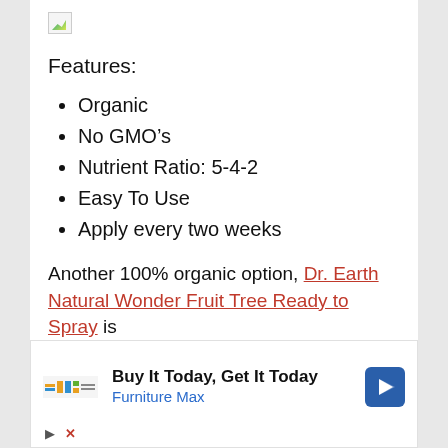[Figure (illustration): Broken/placeholder image icon with small landscape thumbnail]
Features:
Organic
No GMO’s
Nutrient Ratio: 5-4-2
Easy To Use
Apply every two weeks
Another 100% organic option, Dr. Earth Natural Wonder Fruit Tree Ready to Spray is
[Figure (infographic): Advertisement box: Buy It Today, Get It Today - Furniture Max, with logo and navigation arrow icon, play and close controls]